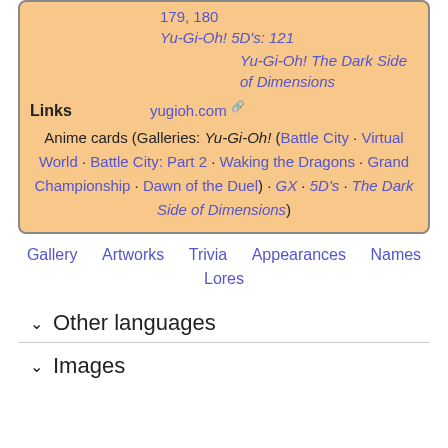179, 180
Yu-Gi-Oh! 5D's: 121
Yu-Gi-Oh! The Dark Side of Dimensions
Links   yugioh.com
Anime cards (Galleries: Yu-Gi-Oh! (Battle City · Virtual World · Battle City: Part 2 · Waking the Dragons · Grand Championship · Dawn of the Duel) · GX · 5D's · The Dark Side of Dimensions)
Gallery   Artworks   Trivia   Appearances   Names
Lores
Other languages
Images